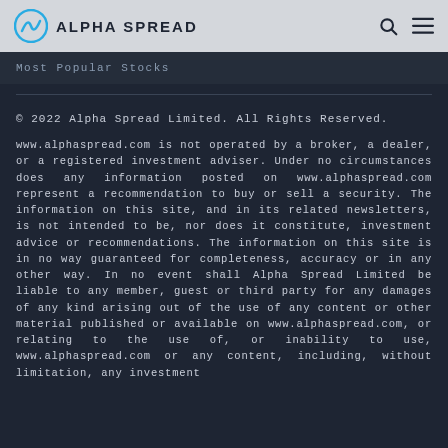ALPHA SPREAD
Most Popular Stocks
© 2022 Alpha Spread Limited. All Rights Reserved.
www.alphaspread.com is not operated by a broker, a dealer, or a registered investment adviser. Under no circumstances does any information posted on www.alphaspread.com represent a recommendation to buy or sell a security. The information on this site, and in its related newsletters, is not intended to be, nor does it constitute, investment advice or recommendations. The information on this site is in no way guaranteed for completeness, accuracy or in any other way. In no event shall Alpha Spread Limited be liable to any member, guest or third party for any damages of any kind arising out of the use of any content or other material published or available on www.alphaspread.com, or relating to the use of, or inability to use, www.alphaspread.com or any content, including, without limitation, any investment